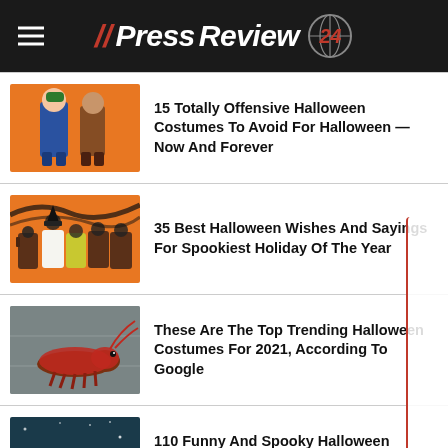// PressReview 24
[Figure (photo): Two children in Halloween costumes on orange background]
15 Totally Offensive Halloween Costumes To Avoid For Halloween — Now And Forever
[Figure (photo): Halloween craft toilet paper roll characters on orange background]
35 Best Halloween Wishes And Sayings For Spookiest Holiday Of The Year
[Figure (photo): Dog dressed as lobster on grey pavement]
These Are The Top Trending Halloween Costumes For 2021, According To Google
[Figure (photo): Dark teal background with text Ghouls just wanna have fun!]
110 Funny And Spooky Halloween Instagram Captions That Will Have Everyone Double Tapping